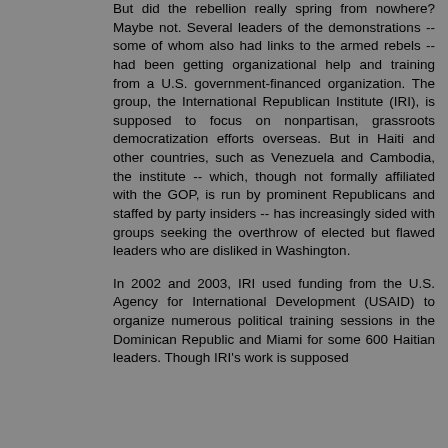But did the rebellion really spring from nowhere? Maybe not. Several leaders of the demonstrations -- some of whom also had links to the armed rebels -- had been getting organizational help and training from a U.S. government-financed organization. The group, the International Republican Institute (IRI), is supposed to focus on nonpartisan, grassroots democratization efforts overseas. But in Haiti and other countries, such as Venezuela and Cambodia, the institute -- which, though not formally affiliated with the GOP, is run by prominent Republicans and staffed by party insiders -- has increasingly sided with groups seeking the overthrow of elected but flawed leaders who are disliked in Washington.
In 2002 and 2003, IRI used funding from the U.S. Agency for International Development (USAID) to organize numerous political training sessions in the Dominican Republic and Miami for some 600 Haitian leaders. Though IRI's work is supposed to be nonpartisan, officials and...